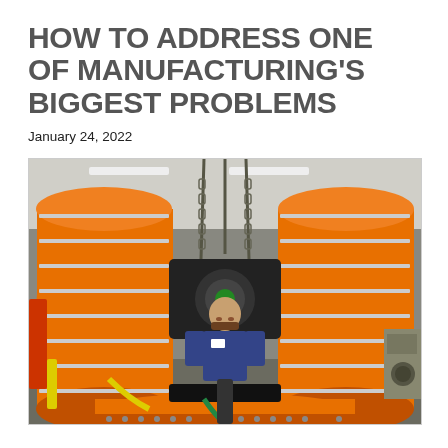HOW TO ADDRESS ONE OF MANUFACTURING'S BIGGEST PROBLEMS
January 24, 2022
[Figure (photo): A factory worker in a blue uniform assembles or works on heavy industrial equipment with large orange cylindrical components suspended by chains in a manufacturing facility.]